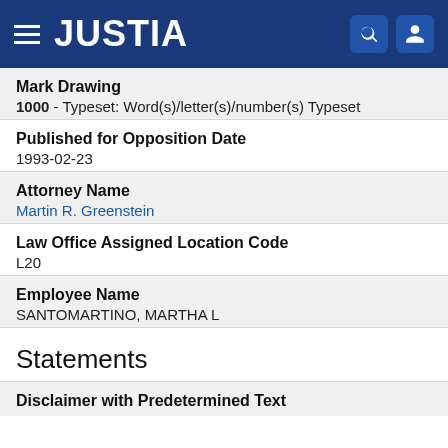JUSTIA
Mark Drawing
1000 - Typeset: Word(s)/letter(s)/number(s) Typeset
Published for Opposition Date
1993-02-23
Attorney Name
Martin R. Greenstein
Law Office Assigned Location Code
L20
Employee Name
SANTOMARTINO, MARTHA L
Statements
Disclaimer with Predetermined Text